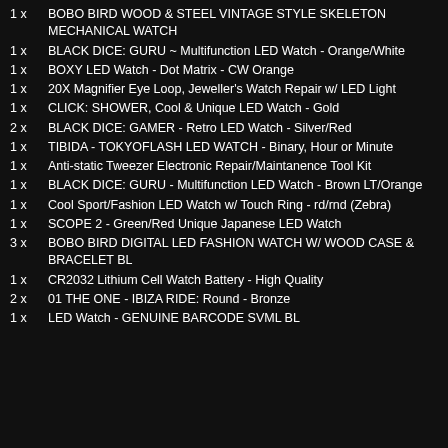1 x   BOBO BIRD WOOD & STEEL VINTAGE STYLE SKELETON MECHANICAL WATCH
1 x   BLACK DICE: GURU ~ Multifunction LED Watch - Orange/White
1 x   BOXY LED Watch - Dot Matrix - CW Orange
1 x   20X Magnifier Eye Loop, Jeweller's Watch Repair w/ LED Light
1 x   CLICK: SHOWER, Cool & Unique LED Watch - Gold
2 x   BLACK DICE: GAMER - Retro LED Watch - Silver/Red
1 x   TIBIDA - TOKYOFLASH LED WATCH - Binary, Hour or Minute
1 x   Anti-static Tweezer Electronic Repair/Maintanence Tool Kit
1 x   BLACK DICE: GURU - Multifunction LED Watch - Brown LT/Orange
1 x   Cool Sport/Fashion LED Watch w/ Touch Ring - rd/rnd (Zebra)
1 x   SCOPE 2 - Green/Red Unique Japanese LED Watch
3 x   BOBO BIRD DIGITAL LED FASHION WATCH W/ WOOD CASE & BRACELET BL
1 x   CR2032 Lithium Cell Watch Battery - High Quality
2 x   01 THE ONE - IBIZA RIDE: Round - Bronze
1 x   LED Watch - GENUINE BARCODE SVML BL